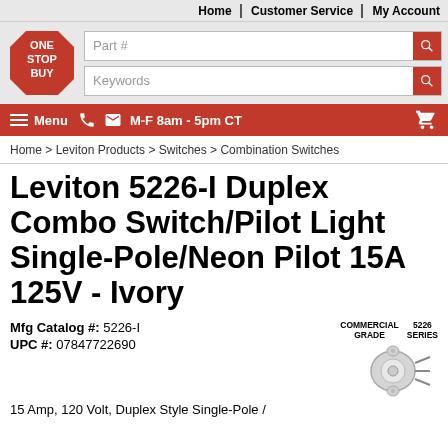Home | Customer Service | My Account
[Figure (logo): One Stop Buy logo - red octagon with white text]
Part #
Keywords
Menu  M-F 8am - 5pm CT
Home > Leviton Products > Switches > Combination Switches
Leviton 5226-I Duplex Combo Switch/Pilot Light Single-Pole/Neon Pilot 15A 125V - Ivory
Mfg Catalog #: 5226-I
UPC #: 07847722690
[Figure (other): Commercial Grade 5226 Series badge with product image of switch]
15 Amp, 120 Volt, Duplex Style Single-Pole /